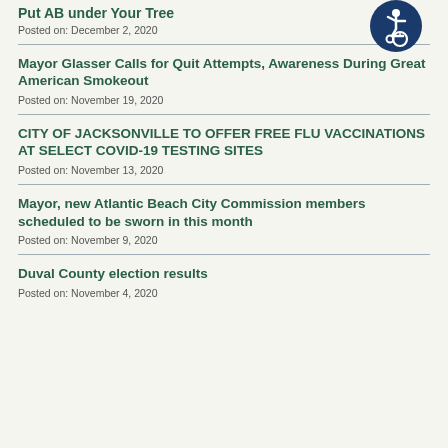Put AB under Your Tree
Posted on: December 2, 2020
[Figure (illustration): Blue circular accessibility icon showing a person in a wheelchair]
Mayor Glasser Calls for Quit Attempts, Awareness During Great American Smokeout
Posted on: November 19, 2020
CITY OF JACKSONVILLE TO OFFER FREE FLU VACCINATIONS AT SELECT COVID-19 TESTING SITES
Posted on: November 13, 2020
Mayor, new Atlantic Beach City Commission members scheduled to be sworn in this month
Posted on: November 9, 2020
Duval County election results
Posted on: November 4, 2020